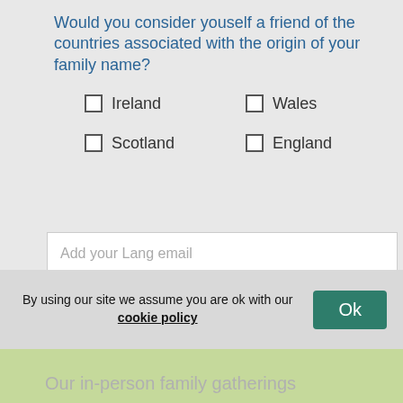Would you consider youself a friend of the countries associated with the origin of your family name?
Ireland
Wales
Scotland
England
Add your Lang email
SUBMIT
Don't forget to share within your family whatsapp groups
[Figure (logo): WhatsApp green phone icon]
By using our site we assume you are ok with our cookie policy
Ok
Our in-person family gatherings